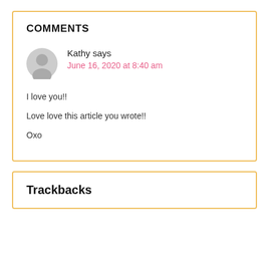COMMENTS
Kathy says
June 16, 2020 at 8:40 am
I love you!!

Love love this article you wrote!!

Oxo
Trackbacks